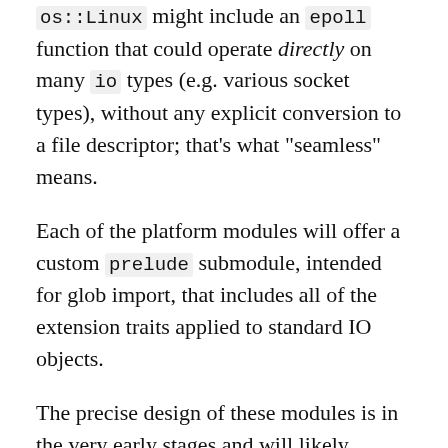os::Linux might include an epoll function that could operate directly on many io types (e.g. various socket types), without any explicit conversion to a file descriptor; that's what "seamless" means.
Each of the platform modules will offer a custom prelude submodule, intended for glob import, that includes all of the extension traits applied to standard IO objects.
The precise design of these modules is in the very early stages and will likely remain #[unstable] for some time.
Proposed organization
The io module is currently the biggest in std, with an entire hierarchy nested underneath; it